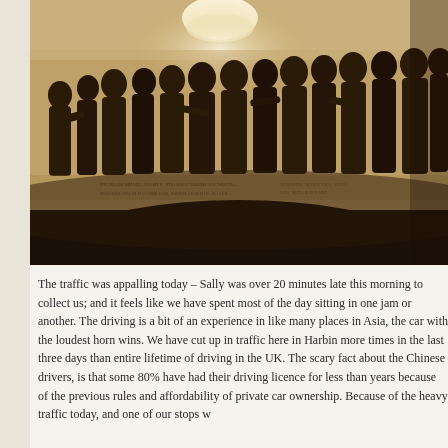[Figure (photo): Interior photograph of a curved wall with dark bronze relief sculpture depicting a group of standing figures/people. A ceiling lamp is visible at the top. The bottom of the curved wall has inscribed text. The lower portion shows a dark curved floor area.]
The traffic was appalling today – Sally was over 20 minutes late this morning to collect us; and it feels like we have spent most of the day sitting in one jam or another. The driving is a bit of an experience in like many places in Asia, the car with the loudest horn wins. We have cut up in traffic here in Harbin more times in the last three days than entire lifetime of driving in the UK. The scary fact about the Chinese drivers, is that some 80% have had their driving licence for less than years because of the previous rules and affordability of private car ownership. Because of the heavy traffic today, and one of our stops w